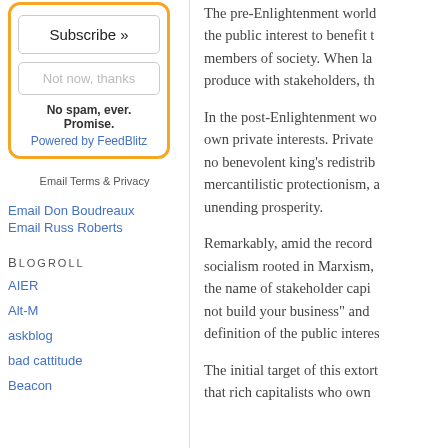[Figure (screenshot): Subscribe widget with orange border containing Subscribe button, Not now thanks button, No spam ever Promise text, and Powered by FeedBlitz link]
Email Terms & Privacy
Email Don Boudreaux
Email Russ Roberts
Blogroll
AIER
Alt-M
askblog
bad cattitude
Beacon
The pre-Enlightenment world the public interest to benefit members of society. When la produce with stakeholders, t
In the post-Enlightenment wo own private interests. Private no benevolent king's redistrib mercantilistic protectionism, a unending prosperity.
Remarkably, amid the record socialism rooted in Marxism, the name of stakeholder capi not build your business" and definition of the public interes
The initial target of this extort that rich capitalists who own